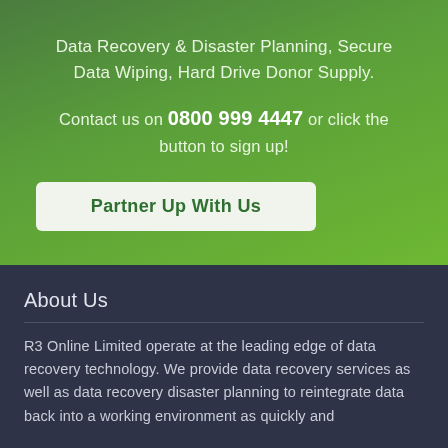Data Recovery & Disaster Planning, Secure Data Wiping, Hard Drive Donor Supply.
Contact us on 0800 999 4447 or click the button to sign up!
Partner Up With Us
About Us
R3 Online Limited operate at the leading edge of data recovery technology. We provide data recovery services as well as data recovery disaster planning to reintegrate data back into a working environment as quickly and